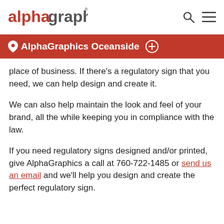alphagraphics
AlphaGraphics Oceanside
place of business. If there's a regulatory sign that you need, we can help design and create it.
We can also help maintain the look and feel of your brand, all the while keeping you in compliance with the law.
If you need regulatory signs designed and/or printed, give AlphaGraphics a call at 760-722-1485 or send us an email and we'll help you design and create the perfect regulatory sign.